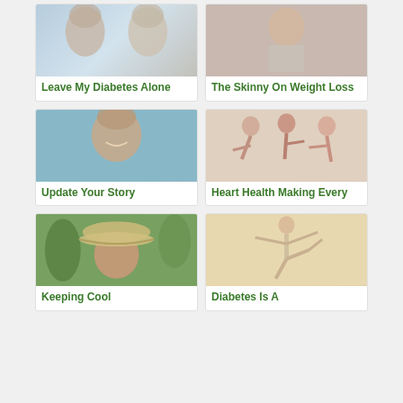[Figure (photo): Two faces in profile, close-up portrait]
Leave My Diabetes Alone
[Figure (photo): Person holding their midsection, weight loss related]
The Skinny On Weight Loss
[Figure (photo): Older man smiling, near a pool]
Update Your Story
[Figure (photo): Three women stretching and exercising together]
Heart Health Making Every
[Figure (photo): Woman wearing a sun hat outdoors with greenery]
Keeping Cool
[Figure (photo): Woman doing a yoga balance pose]
Diabetes Is A